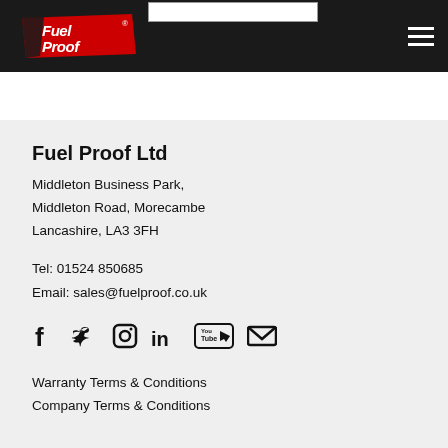Fuel Proof [logo] — navigation header with hamburger menu
Fuel Proof Ltd
Middleton Business Park,
Middleton Road, Morecambe
Lancashire, LA3 3FH
Tel: 01524 850685
Email: sales@fuelproof.co.uk
[Figure (other): Social media icons row: Facebook, Twitter, Instagram, LinkedIn, YouTube, Email]
Warranty Terms & Conditions
Company Terms & Conditions